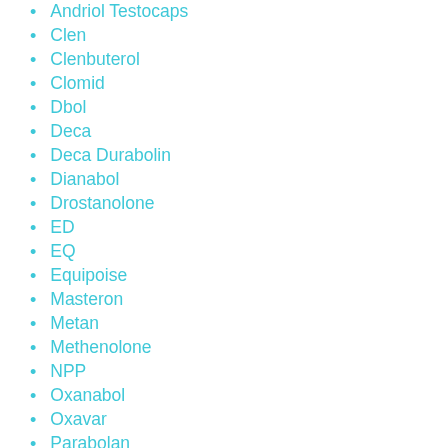Andriol Testocaps
Clen
Clenbuterol
Clomid
Dbol
Deca
Deca Durabolin
Dianabol
Drostanolone
ED
EQ
Equipoise
Masteron
Metan
Methenolone
NPP
Oxanabol
Oxavar
Parabolan
Primo
Primobolan
Primobolan Depot